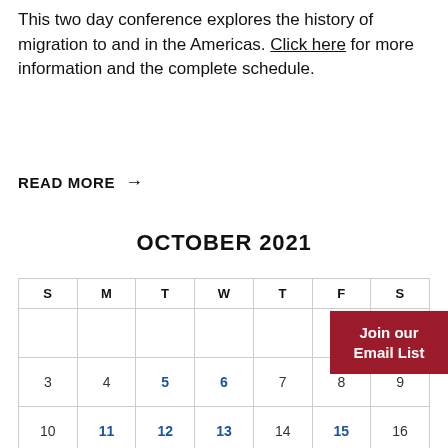This two day conference explores the history of migration to and in the Americas. Click here for more information and the complete schedule.
READ MORE →
OCTOBER 2021
| S | M | T | W | T | F | S |
| --- | --- | --- | --- | --- | --- | --- |
|  |  |  |  |  | 1 | 2 |
| 3 | 4 | 5 | 6 | 7 | 8 | 9 |
| 10 | 11 | 12 | 13 | 14 | 15 | 16 |